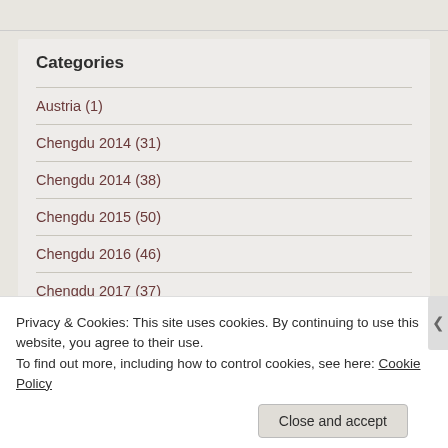Categories
Austria (1)
Chengdu 2014 (31)
Chengdu 2014 (38)
Chengdu 2015 (50)
Chengdu 2016 (46)
Chengdu 2017 (37)
Chengdu 2018 (14)
Privacy & Cookies: This site uses cookies. By continuing to use this website, you agree to their use.
To find out more, including how to control cookies, see here: Cookie Policy
Close and accept